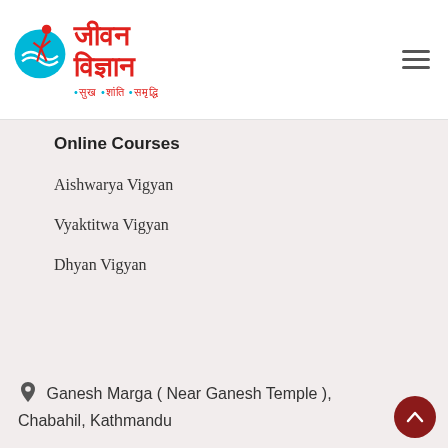[Figure (logo): Jeevan Vigyan logo with a stylized human figure in blue circle with red Hindi text 'जीवन विज्ञान' and tagline in red/cyan dots]
Online Courses
Aishwarya Vigyan
Vyaktitwa Vigyan
Dhyan Vigyan
Ganesh Marga ( Near Ganesh Temple ), Chabahil, Kathmandu